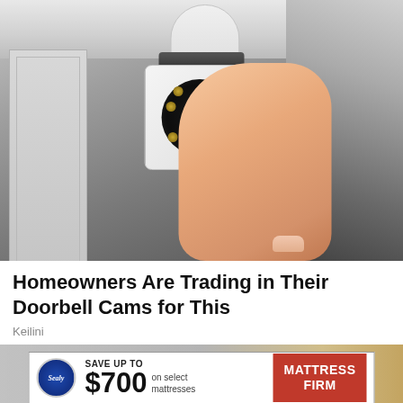[Figure (photo): A hand holding a white dome security camera mounted near the ceiling corner of a room with grey walls and crown molding.]
Homeowners Are Trading in Their Doorbell Cams for This
Keilini
[Figure (other): Advertisement banner: Sealy logo, 'SAVE UP TO $700 on select mattresses', Mattress Firm logo in red.]